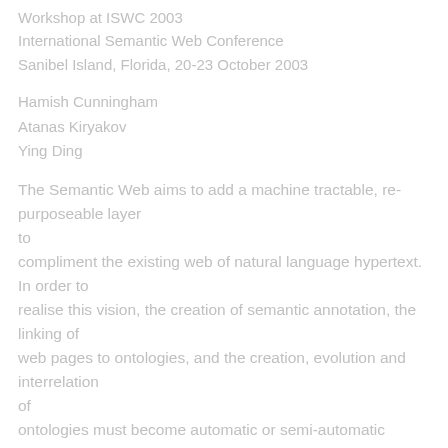Workshop at ISWC 2003
International Semantic Web Conference
Sanibel Island, Florida, 20-23 October 2003
Hamish Cunningham
Atanas Kiryakov
Ying Ding
The Semantic Web aims to add a machine tractable, re-purposeable layer to compliment the existing web of natural language hypertext. In order to realise this vision, the creation of semantic annotation, the linking of web pages to ontologies, and the creation, evolution and interrelation of ontologies must become automatic or semi-automatic